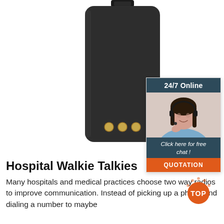[Figure (photo): Black walkie-talkie battery pack with three gold contact dots at the bottom and a clip at the top, shown on white background]
[Figure (infographic): 24/7 Online chat widget with dark blue header reading '24/7 Online', photo of a smiling female customer service agent wearing a headset, dark blue footer reading 'Click here for free chat !', and an orange button reading 'QUOTATION']
Hospital Walkie Talkies
Many hospitals and medical practices choose two way radios to improve communication. Instead of picking up a phone and dialing a number to maybe
[Figure (logo): Orange and dotted circular 'TOP' badge/logo in bottom right area]